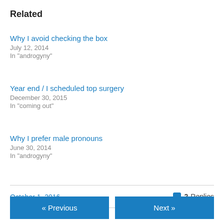Related
Why I avoid checking the box
July 12, 2014
In "androgyny"
Year end / I scheduled top surgery
December 30, 2015
In "coming out"
Why I prefer male pronouns
June 30, 2014
In "androgyny"
October 1, 2016
2 Replies
« Previous
Next »